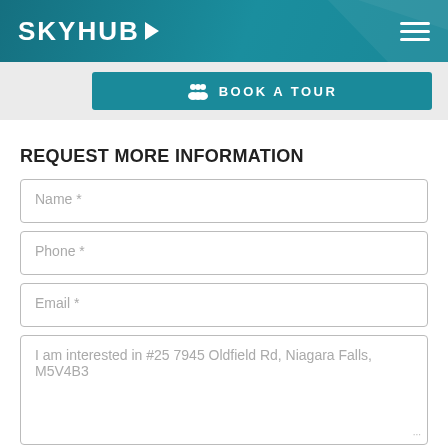SKYHUB
[Figure (screenshot): BOOK A TOUR button with people icon on teal background]
REQUEST MORE INFORMATION
Name *
Phone *
Email *
I am interested in #25 7945 Oldfield Rd, Niagara Falls, M5V4B3
I'm not a robot